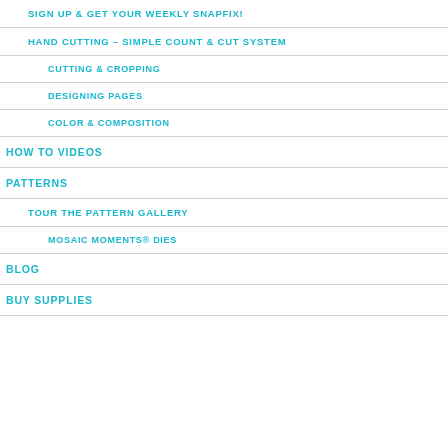SIGN UP & GET YOUR WEEKLY SNAPFIX!
HAND CUTTING – SIMPLE COUNT & CUT SYSTEM
CUTTING & CROPPING
DESIGNING PAGES
COLOR & COMPOSITION
HOW TO VIDEOS
PATTERNS
TOUR THE PATTERN GALLERY
MOSAIC MOMENTS® DIES
BLOG
BUY SUPPLIES